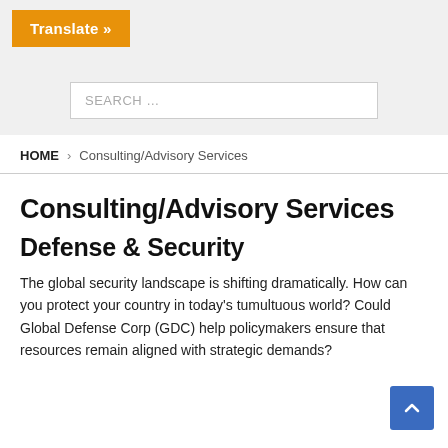[Figure (screenshot): Orange 'Translate »' button on a light grey toolbar background]
[Figure (screenshot): Search bar with placeholder text 'SEARCH ...' on a light grey background]
HOME > Consulting/Advisory Services
Consulting/Advisory Services
Defense & Security
The global security landscape is shifting dramatically. How can you protect your country in today's tumultuous world? Could Global Defense Corp (GDC) help policymakers ensure that resources remain aligned with strategic demands?